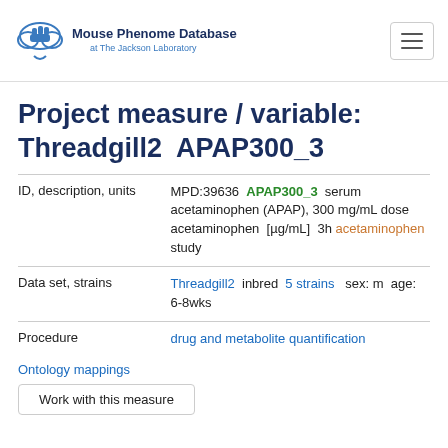Mouse Phenome Database at The Jackson Laboratory
Project measure / variable: Threadgill2  APAP300_3
| Field | Value |
| --- | --- |
| ID, description, units | MPD:39636  APAP300_3  serum acetaminophen (APAP), 300 mg/mL dose acetaminophen  [µg/mL]  3h  acetaminophen study |
| Data set, strains | Threadgill2  inbred  5 strains  sex: m  age: 6-8wks |
| Procedure | drug and metabolite quantification |
Ontology mappings
Work with this measure